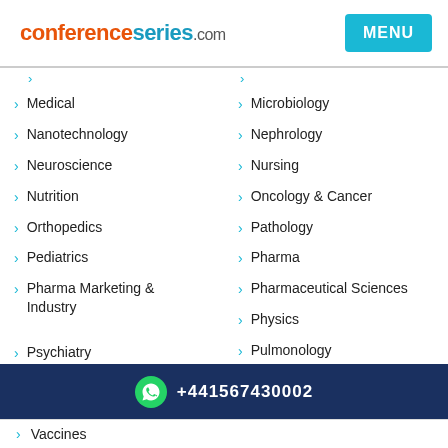conferenceseries.com
Medical
Microbiology
Nanotechnology
Nephrology
Neuroscience
Nursing
Nutrition
Oncology & Cancer
Orthopedics
Pathology
Pediatrics
Pharma
Pharma Marketing & Industry
Pharmaceutical Sciences
Physics
Psychiatry
Pulmonology
+441567430002
Vaccines